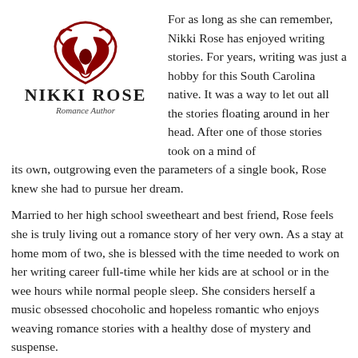[Figure (logo): Nikki Rose Romance Author logo with decorative dark red rose/heart graphic above the text 'NIKKI ROSE' in bold serif letters and 'Romance Author' in italic script below]
For as long as she can remember, Nikki Rose has enjoyed writing stories. For years, writing was just a hobby for this South Carolina native. It was a way to let out all the stories floating around in her head. After one of those stories took on a mind of its own, outgrowing even the parameters of a single book, Rose knew she had to pursue her dream.
Married to her high school sweetheart and best friend, Rose feels she is truly living out a romance story of her very own. As a stay at home mom of two, she is blessed with the time needed to work on her writing career full-time while her kids are at school or in the wee hours while normal people sleep. She considers herself a music obsessed chocoholic and hopeless romantic who enjoys weaving romance stories with a healthy dose of mystery and suspense.